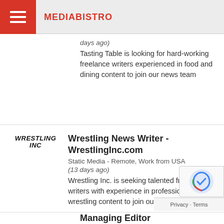MEDIABISTRO
days ago)
Tasting Table is looking for hard-working freelance writers experienced in food and dining content to join our news team
Wrestling News Writer - WrestlingInc.com
Static Media - Remote, Work from USA
(13 days ago)
Wrestling Inc. is seeking talented freelance writers with experience in professional wrestling content to join our team
Managing Editor